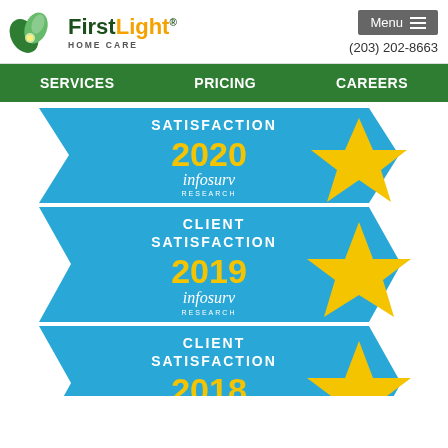[Figure (logo): FirstLight Home Care logo with green leaf graphic, 'First' in dark green, 'Light' in orange/yellow, 'HOME CARE' in gray below]
Menu  (203) 202-8663
SERVICES   PRICING   CAREERS
[Figure (other): Client Satisfaction 2020 infosurv Research award badge - blue banner with gold star]
[Figure (other): Client Satisfaction 2019 infosurv Research award badge - blue banner with gold star]
[Figure (other): Client Satisfaction 2018 infosurv Research award badge - blue banner with gold star (partially visible)]